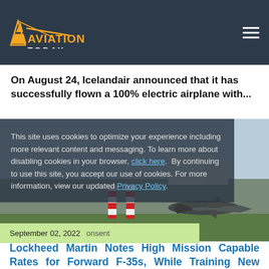AVIATION TODAY
On August 24, Icelandair announced that it has successfully flown a 100% electric airplane with...
[Figure (photo): Cookie consent overlay dialog on top of an aviation photo showing an F-35 aircraft on a runway with red and white barrier in background.]
This site uses cookies to optimize your experience including more relevant content and messaging. To learn more about disabling cookies in your browser, click here.  By continuing to use this site, you accept our use of cookies. For more information, view our updated Privacy Policy.
September 02, 2022   consent
Lockheed Martin Notes High Mission Capable Rates for Forward F-35s, While Training New Avionics...